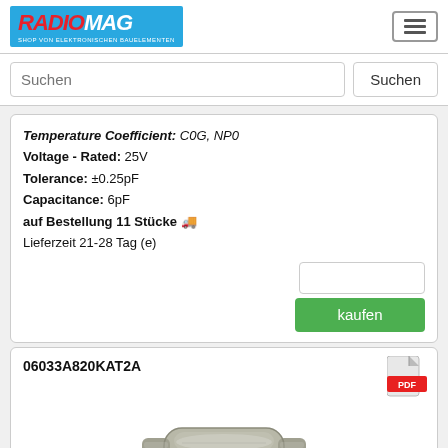RADIOMAG - SHOP VON ELEKTRONISCHEN BAUELEMENTEN
Temperature Coefficient: C0G, NP0
Voltage - Rated: 25V
Tolerance: ±0.25pF
Capacitance: 6pF
auf Bestellung 11 Stücke
Lieferzeit 21-28 Tag (e)
[Figure (screenshot): kaufen button and quantity input field]
06033A820KAT2A
[Figure (photo): SMD ceramic capacitor component photo]